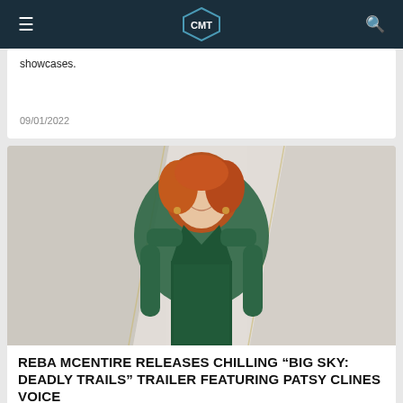CMT
showcases.
09/01/2022
[Figure (photo): Woman with red hair wearing a dark green sparkly dress, smiling, at what appears to be a red carpet event with geometric background panels]
REBA MCENTIRE RELEASES CHILLING “BIG SKY: DEADLY TRAILS” TRAILER FEATURING PATSY CLINES VOICE